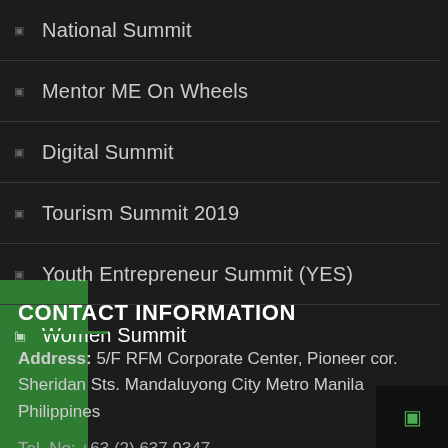National Summit
Mentor ME On Wheels
Digital Summit
Tourism Summit 2019
Youth Entrepreneur Summit (YES)
Women Summit
CONTACT INFORMATION
Address: 5/F RFM Corporate Center, Pioneer cor. Sheridan Sts. Mandaluyong City Metro Manila Philippines
Tel. No: +63 (2) 637 9347